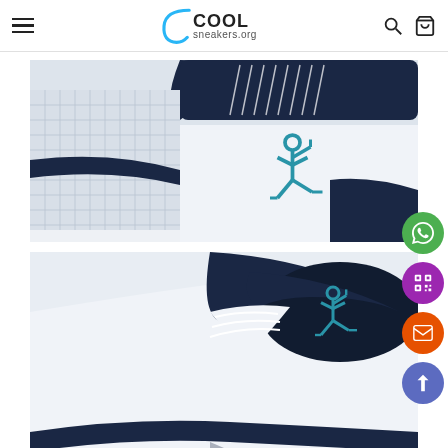coolsneakers.org
[Figure (photo): Close-up photo of Air Jordan 11 sneaker showing the Jumpman logo and navy/white colorway on the tongue and side panel]
[Figure (photo): Close-up photo of Air Jordan 11 sneaker tongue area showing teal Jumpman logo on navy background, white shoe body]